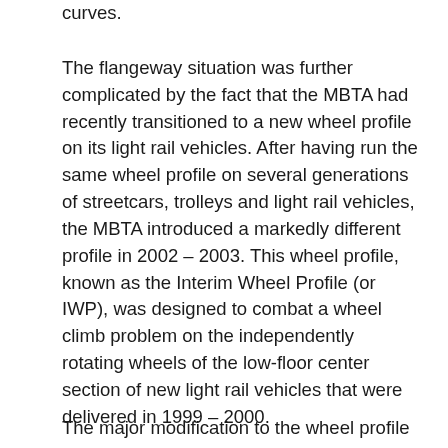curves.
The flangeway situation was further complicated by the fact that the MBTA had recently transitioned to a new wheel profile on its light rail vehicles. After having run the same wheel profile on several generations of streetcars, trolleys and light rail vehicles, the MBTA introduced a markedly different profile in 2002 – 2003. This wheel profile, known as the Interim Wheel Profile (or IWP), was designed to combat a wheel climb problem on the independently rotating wheels of the low-floor center section of new light rail vehicles that were delivered in 1999 – 2000.
The major modification to the wheel profile